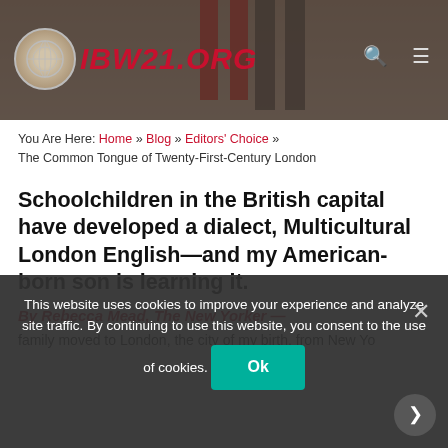[Figure (photo): Website header with IBW21.ORG logo on dark brownish background with partial image of children's legs above]
You Are Here: Home » Blog » Editors' Choice » The Common Tongue of Twenty-First-Century London
Schoolchildren in the British capital have developed a dialect, Multicultural London English—and my American-born son is learning it.
By Rebecca Mead, The New Yorker —
family moved to London, the city of my birth, from New York, my home for three decades. We wanted to make a...
This website uses cookies to improve your experience and analyze site traffic. By continuing to use this website, you consent to the use of cookies.